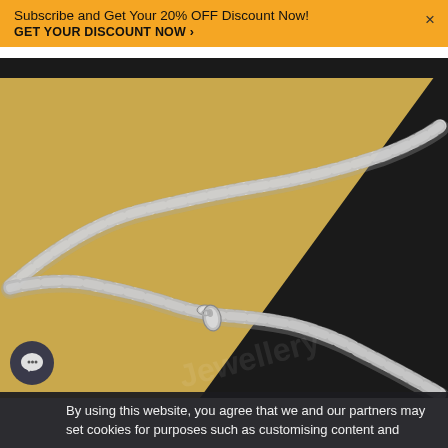Subscribe and Get Your 20% OFF Discount Now!
GET YOUR DISCOUNT NOW ›
[Figure (photo): Silver curb chain necklace with lobster clasp shown against a two-tone background of gold/tan and black.]
By using this website, you agree that we and our partners may set cookies for purposes such as customising content and